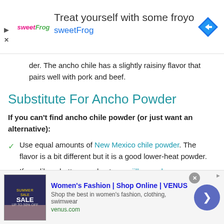[Figure (screenshot): SweetFrog froyo advertisement banner at top of page with logo, text 'Treat yourself with some froyo sweetFrog', and navigation icon]
der. The ancho chile has a slightly raisiny flavor that pairs well with pork and beef.
Substitute For Ancho Powder
If you can't find ancho chile powder (or just want an alternative):
Use equal amounts of New Mexico chile powder. The flavor is a bit different but it is a good lower-heat powder.
If you like a hotter powder, try guajillo powder.
If that's not enough heat then you can go with chile de arbol powder which is quite hot. There are even hotter powders but I'll save that topic for another article.
[Figure (screenshot): Women's Fashion VENUS advertisement banner at bottom of page]